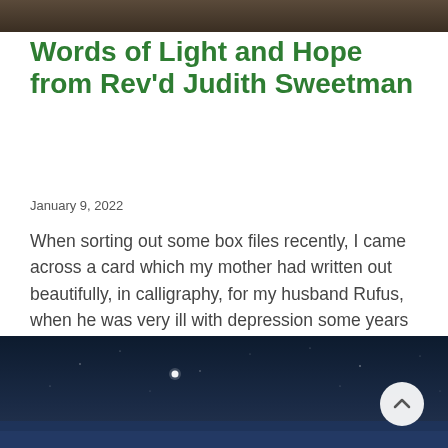[Figure (photo): Dark top image strip, appears to be a dark photo at the top of a blog page]
Words of Light and Hope from Rev'd Judith Sweetman
January 9, 2022
When sorting out some box files recently, I came across a card which my mother had written out beautifully, in calligraphy, for my husband Rufus, when he was very ill with depression some years ago (my mother sadly died in 2010). Rufus is happy for me to share this with...
[Figure (photo): Night sky photograph showing stars and a bright star or planet, dark blue background]